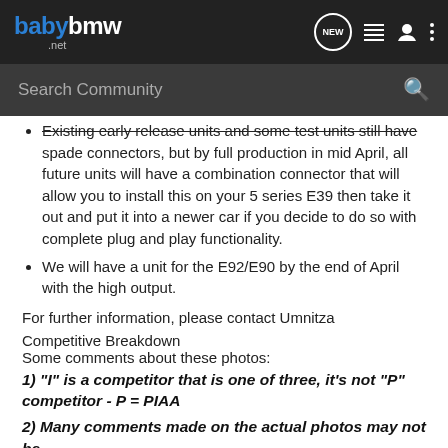babybmw.net — navigation bar with NEW, list, user, and menu icons
Search Community
Existing early release units and some test units still have spade connectors, but by full production in mid April, all future units will have a combination connector that will allow you to install this on your 5 series E39 then take it out and put it into a newer car if you decide to do so with complete plug and play functionality.
We will have a unit for the E92/E90 by the end of April with the high output.
For further information, please contact Umnitza
Competitive Breakdown
Some comments about these photos:
1) "I" is a competitor that is one of three, it's not "P" competitor - P = PIAA
2) Many comments made on the actual photos may not be